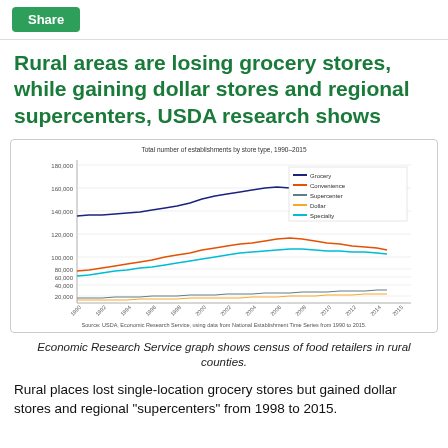Share
Rural areas are losing grocery stores, while gaining dollar stores and regional supercenters, USDA research shows
[Figure (line-chart): Total number of establishments by store type, 1990-2015]
Economic Research Service graph shows census of food retailers in rural counties.
Rural places lost single-location grocery stores but gained dollar stores and regional "supercenters" from 1998 to 2015.